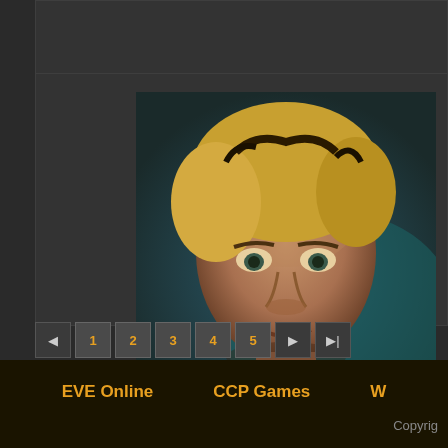"It's easy to speak for the silent majority
#60 - 2012-03-12 02:48:43 UTC
[Figure (illustration): Avatar portrait of a character named Ladie Harlot - painted digital art showing a person with blonde hair against a teal/dark background]
Ladie Harlot
Viziam
Amarr Empire
Likes received: 2,561
Why would my pod being blown up stop
The artist formerly known as Ladie Sca
1
2
3
4
5
EVE Online    CCP Games    W...    Copyrig